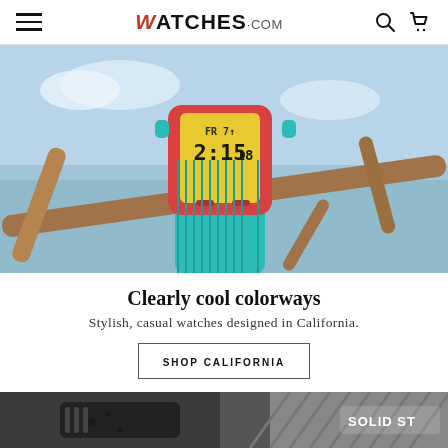WATCHES.com
[Figure (photo): Close-up photo of a colorful digital watch with red/orange case, yellow digital face showing FR 2:15 18, and teal rubber band, placed on a driftwood branch with a beach background]
Clearly cool colorways
Stylish, casual watches designed in California.
SHOP CALIFORNIA
[Figure (photo): Partial bottom image showing black watch straps/accessories with 'SOLID ST' text visible on the right side on a dark surface]